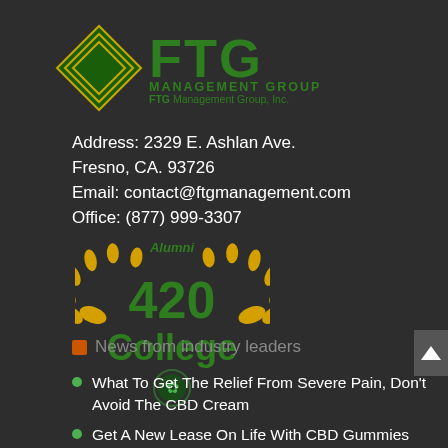[Figure (logo): FTG Management Group logo with diamond shape and large green FTG letters]
Address: 2329 E. Ashlan Ave.
Fresno, CA. 93726
Email: contact@ftgmanagement.com
Office: (877) 999-3307
[Figure (logo): 420 College Alumni logo with gold laurel wreath, green text reading '420 College', cannabis leaf emblem]
News from industry leaders
What To Get The Relief From Severe Pain, Don't Avoid The CBD Cream
Get A New Lease On Life With CBD Gummies For